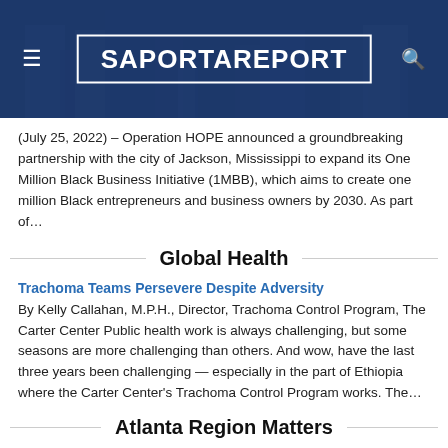SaportaReport
(July 25, 2022) – Operation HOPE announced a groundbreaking partnership with the city of Jackson, Mississippi to expand its One Million Black Business Initiative (1MBB), which aims to create one million Black entrepreneurs and business owners by 2030. As part of…
Global Health
Trachoma Teams Persevere Despite Adversity
By Kelly Callahan, M.P.H., Director, Trachoma Control Program, The Carter Center Public health work is always challenging, but some seasons are more challenging than others. And wow, have the last three years been challenging — especially in the part of Ethiopia where the Carter Center's Trachoma Control Program works. The…
Atlanta Region Matters